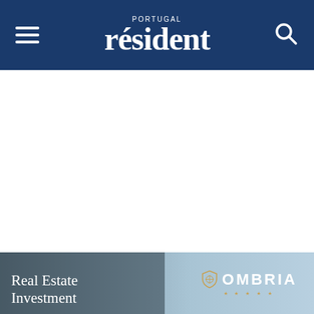PORTUGAL resident
[Figure (screenshot): White empty content area below the navigation header]
[Figure (photo): Real Estate Investment advertisement banner for Ombria resort showing a building facade with sky background. Text reads 'Real Estate Investment' with Ombria logo and stars.]